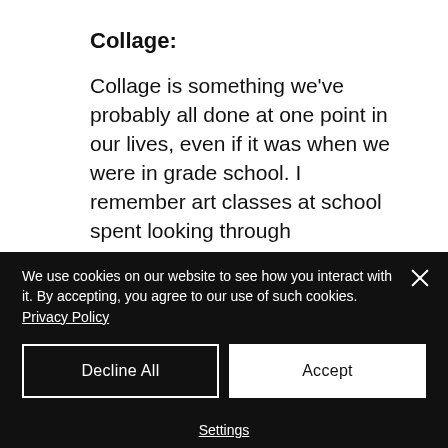Collage:
Collage is something we've probably all done at one point in our lives, even if it was when we were in grade school. I remember art classes at school spent looking through magazines to find images I liked, then cutting them out and pasting them onto a paper surface.
We use cookies on our website to see how you interact with it. By accepting, you agree to our use of such cookies. Privacy Policy
Decline All
Accept
Settings